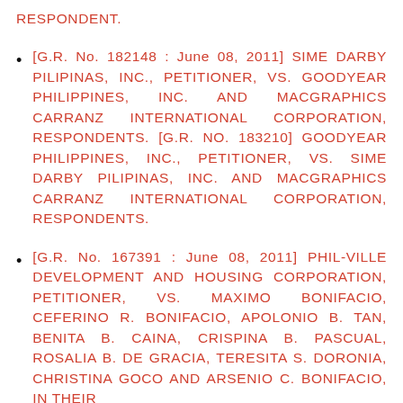RESPONDENT.
[G.R. No. 182148 : June 08, 2011] SIME DARBY PILIPINAS, INC., PETITIONER, VS. GOODYEAR PHILIPPINES, INC. AND MACGRAPHICS CARRANZ INTERNATIONAL CORPORATION, RESPONDENTS. [G.R. NO. 183210] GOODYEAR PHILIPPINES, INC., PETITIONER, VS. SIME DARBY PILIPINAS, INC. AND MACGRAPHICS CARRANZ INTERNATIONAL CORPORATION, RESPONDENTS.
[G.R. No. 167391 : June 08, 2011] PHIL-VILLE DEVELOPMENT AND HOUSING CORPORATION, PETITIONER, VS. MAXIMO BONIFACIO, CEFERINO R. BONIFACIO, APOLONIO B. TAN, BENITA B. CAINA, CRISPINA B. PASCUAL, ROSALIA B. DE GRACIA, TERESITA S. DORONIA, CHRISTINA GOCO AND ARSENIO C. BONIFACIO, IN THEIR